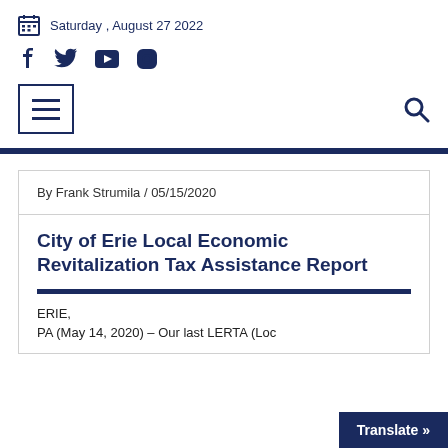Saturday , August 27 2022
By Frank Strumila / 05/15/2020
City of Erie Local Economic Revitalization Tax Assistance Report
ERIE,
PA (May 14, 2020) – Our last LERTA (Loc